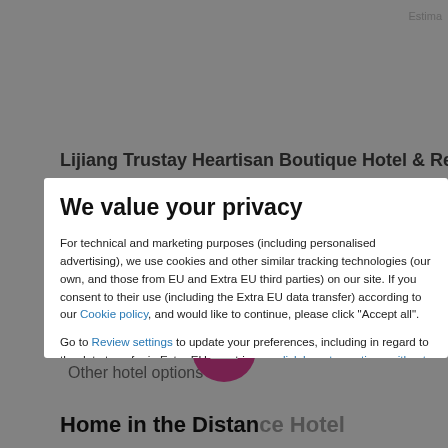Estima
Lijiang Trustay Heartisan Boutique Hotel & Re
We value your privacy
For technical and marketing purposes (including personalised advertising), we use cookies and other similar tracking technologies (our own, and those from EU and Extra EU third parties) on our site. If you consent to their use (including the Extra EU data transfer) according to our Cookie policy, and would like to continue, please click "Accept all".
Go to Review settings to update your preferences, including in regard to the data transfer in Extra-EU countries, or click here to continue without non mandatory cookies.
ACCEPT ALL
Other hotel options
Home in the Distance Hotel